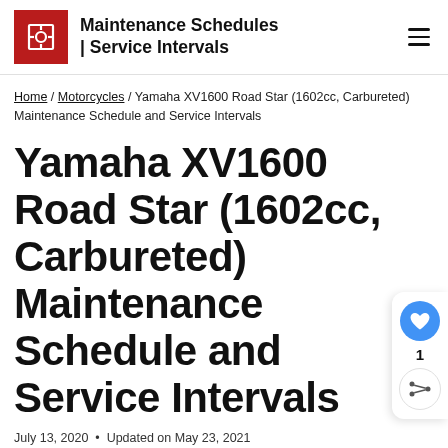Maintenance Schedules | Service Intervals
Home / Motorcycles / Yamaha XV1600 Road Star (1602cc, Carbureted) Maintenance Schedule and Service Intervals
Yamaha XV1600 Road Star (1602cc, Carbureted) Maintenance Schedule and Service Intervals
July 13, 2020  •  Updated on May 23, 2021